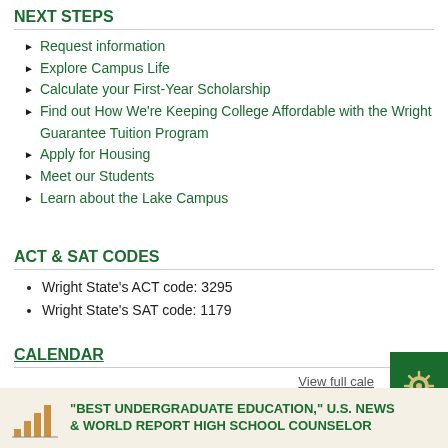NEXT STEPS
Request information
Explore Campus Life
Calculate your First-Year Scholarship
Find out How We're Keeping College Affordable with the Wright Guarantee Tuition Program
Apply for Housing
Meet our Students
Learn about the Lake Campus
ACT & SAT CODES
Wright State's ACT code: 3295
Wright State's SAT code: 1179
CALENDAR
View full cale
"BEST UNDERGRADUATE EDUCATION," U.S. NEWS & WORLD REPORT HIGH SCHOOL COUNSELOR